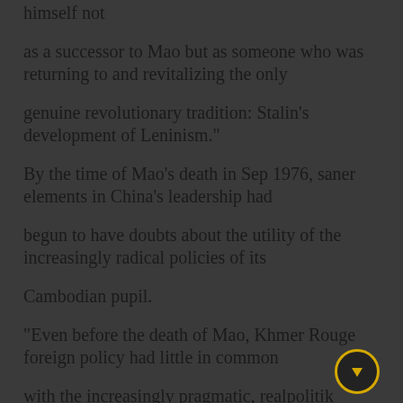himself not
as a successor to Mao but as someone who was returning to and revitalizing the only
genuine revolutionary tradition: Stalin's development of Leninism."
By the time of Mao's death in Sep 1976, saner elements in China's leadership had
begun to have doubts about the utility of the increasingly radical policies of its
Cambodian pupil.
"Even before the death of Mao, Khmer Rouge foreign policy had little in common
with the increasingly pragmatic, realpolitik approach to the world being fostered
by Zhou Enlai," Morris writes. "Especially after the death of Mao, China
probably saw Khmer Rouge foreign policy as dangerously self-destructive [and] also